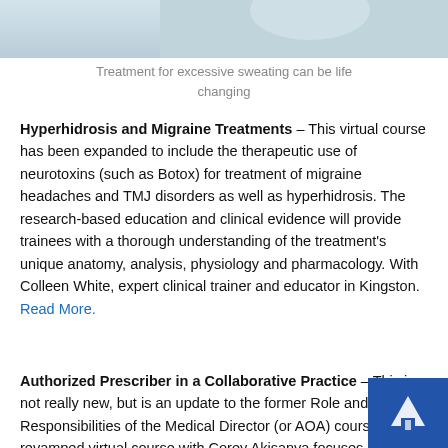[Figure (photo): Partial photo of a person, light background at top of page]
Treatment for excessive sweating can be life changing
Hyperhidrosis and Migraine Treatments – This virtual course has been expanded to include the therapeutic use of neurotoxins (such as Botox) for treatment of migraine headaches and TMJ disorders as well as hyperhidrosis. The research-based education and clinical evidence will provide trainees with a thorough understanding of the treatment's unique anatomy, analysis, physiology and pharmacology. With Colleen White, expert clinical trainer and educator in Kingston. Read More.
Authorized Prescriber in a Collaborative Practice – This is not really new, but is an update to the former Role and Responsibilities of the Medical Director (or AOA) course. This revamped virtual course with Corey Akisanya focuses on a collaborative approach to the delegation and development of